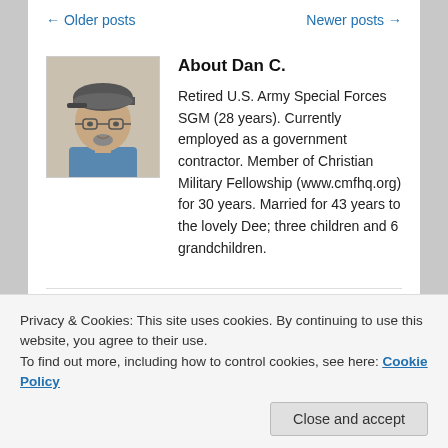← Older posts    Newer posts →
[Figure (photo): Headshot of a middle-aged man wearing glasses and a cap, with a beard, smiling slightly.]
About Dan C.
Retired U.S. Army Special Forces SGM (28 years). Currently employed as a government contractor. Member of Christian Military Fellowship (www.cmfhq.org) for 30 years. Married for 43 years to the lovely Dee; three children and 6 grandchildren.
Privacy & Cookies: This site uses cookies. By continuing to use this website, you agree to their use.
To find out more, including how to control cookies, see here: Cookie Policy